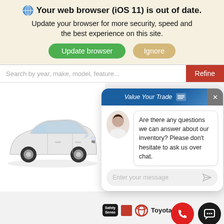Your web browser (iOS 11) is out of date.
Update your browser for more security, speed and the best experience on this site.
Update browser  Ignore
Search by year, make, model, feature...
[Figure (screenshot): Chat widget overlay on car dealership website showing 'Value Your Trade' header, avatar of woman, chat message 'Are there any questions we can answer about our inventory? Please don't hesitate to ask us over chat.' and message input area. Also shows white Toyota Corolla car image, ToyotaCare badge, Safety Sense badge, and FAB action buttons.]
❷Details